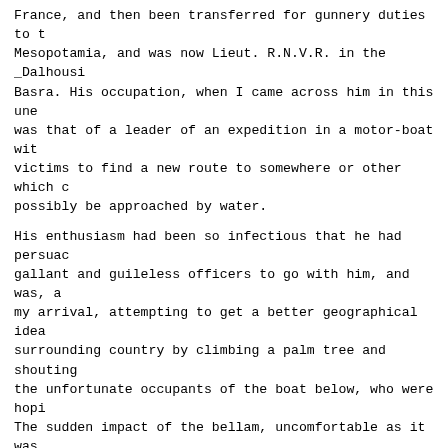France, and then been transferred for gunnery duties to Mesopotamia, and was now Lieut. R.N.V.R. in the _Dalhousi Basra. His occupation, when I came across him in this une was that of a leader of an expedition in a motor-boat wit victims to find a new route to somewhere or other which c possibly be approached by water.
His enthusiasm had been so infectious that he had persua gallant and guileless officers to go with him, and was, a my arrival, attempting to get a better geographical idea surrounding country by climbing a palm tree and shouting the unfortunate occupants of the boat below, who were hop The sudden impact of the bellam, uncomfortable as it was concerned, succeeded where they had failed, in getting th
[Illustration: THE HOUSE OF SINBAD THE SAILOR, BASRA]
An old-world touch is given to the waters of Basra by th dhows anchored in the river. Above Ashar Creek the scene with its wharves and big steamers is not particularly cha the East. Some of it might be by the Thames at Tilbury Do Khora Creek and in the lower reaches of the river at Basr old-world ships, with their quaint lines and steep, nakeo more in keeping with our recollections of Sinbad the Sail of the days of the Merchant Venturers of our own Elizabet
It is to be supposed that the type of ship that has survi to the present day, like the mahaila and the goufa, is ve unchanged like everything else, and tells us faithfully w ships there were in these waters some two thousand years